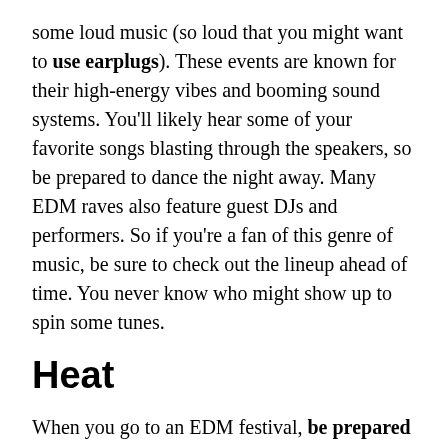some loud music (so loud that you might want to use earplugs). These events are known for their high-energy vibes and booming sound systems. You'll likely hear some of your favorite songs blasting through the speakers, so be prepared to dance the night away. Many EDM raves also feature guest DJs and performers. So if you're a fan of this genre of music, be sure to check out the lineup ahead of time. You never know who might show up to spin some tunes.
Heat
When you go to an EDM festival, be prepared for the heat. It's going to be hot, and it might be a little uncomfortable, but it will be worth it. The music will be loud, the lights will be bright, and the energy